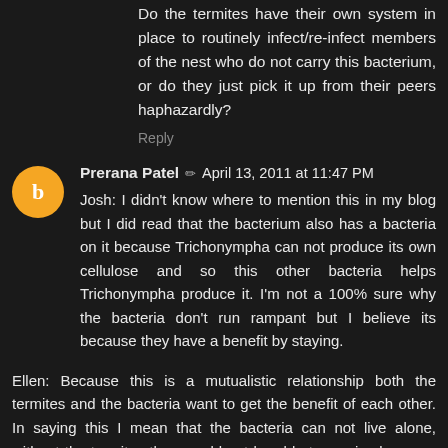Do the termites have their own system in place to routinely infect/re-infect members of the nest who do not carry this bacterium, or do they just pick it up from their peers haphazardly?
Reply
Prerana Patel ✏ April 13, 2011 at 11:47 PM
Josh: I didn't know where to mention this in my blog but I did read that the bacterium also has a bacteria on it because Trichonympha can not produce its own cellulose and so this other bacteria helps Trichonympha produce it. I'm not a 100% sure why the bacteria don't run rampant but I believe its because they have a benefit by staying.
Ellen: Because this is a mutualistic relationship both the termites and the bacteria want to get the benefit of each other. In saying this I mean that the bacteria can not live alone, without the termites they would not be able to survive because they would not have a proper shelter. The termites on the other hand will starve without the bacteria